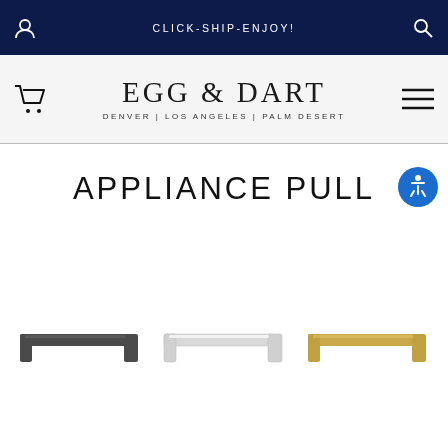CLICK-SHIP-ENJOY!
[Figure (logo): Egg & Dart logo with tagline DENVER | LOS ANGELES | PALM DESERT]
APPLIANCE PULL
[Figure (photo): Three appliance pulls shown: matte black, chrome/white, and brushed gold/brass finishes]